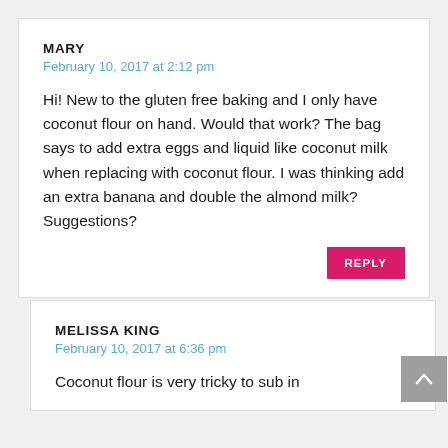MARY
February 10, 2017 at 2:12 pm
Hi! New to the gluten free baking and I only have coconut flour on hand. Would that work? The bag says to add extra eggs and liquid like coconut milk when replacing with coconut flour. I was thinking add an extra banana and double the almond milk? Suggestions?
REPLY
MELISSA KING
February 10, 2017 at 6:36 pm
Coconut flour is very tricky to sub in